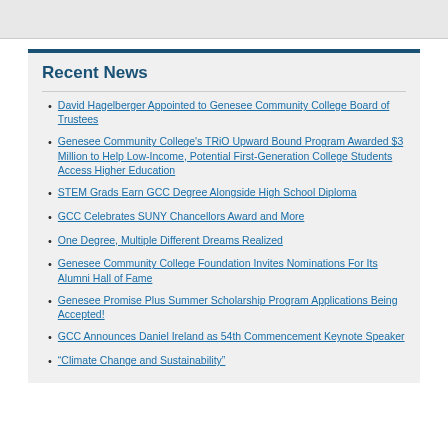Recent News
David Hagelberger Appointed to Genesee Community College Board of Trustees
Genesee Community College's TRiO Upward Bound Program Awarded $3 Million to Help Low-Income, Potential First-Generation College Students Access Higher Education
STEM Grads Earn GCC Degree Alongside High School Diploma
GCC Celebrates SUNY Chancellors Award and More
One Degree, Multiple Different Dreams Realized
Genesee Community College Foundation Invites Nominations For Its Alumni Hall of Fame
Genesee Promise Plus Summer Scholarship Program Applications Being Accepted!
GCC Announces Daniel Ireland as 54th Commencement Keynote Speaker
“Climate Change and Sustainability”